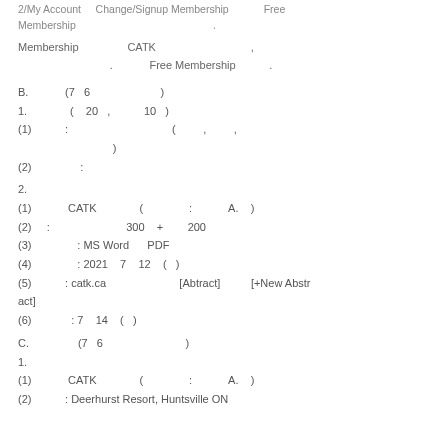2/My Account    Change/Signup Membership              Free Membership              .
Membership          CATK                           ,
                    .        Free Membership          .
B.         (7  6                    )
1.            (   20  ,          10  )
(1)         :                                      (         ,         ,
                           )
(2)              :
2.
(1)           CATK                (              :          A.    )
(2)    :                       300   +         200
(3)             : MS Word      PDF
(4)              : 2021   7   12   (  )
(5)          : catk.ca                     [Abtract]           [+New Abstract]
(6)              : 7   14   (  )
C.              (7  6                       )
1.
(1)           CATK                (              :          A.    )
(2)          : Deerhurst Resort, Huntsville ON